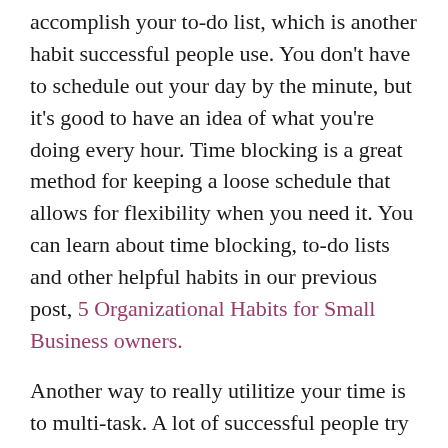accomplish your to-do list, which is another habit successful people use. You don't have to schedule out your day by the minute, but it's good to have an idea of what you're doing every hour. Time blocking is a great method for keeping a loose schedule that allows for flexibility when you need it. You can learn about time blocking, to-do lists and other helpful habits in our previous post, 5 Organizational Habits for Small Business owners.
Another way to really utilitize your time is to multi-task. A lot of successful people try to combine less important tasks. Mark Cuban, a businessman and owner of the Dallas Mavericks, reads his email while exercising.
Combining tasks like that is a great way to get the most done in a day. Just make sure you aren't multi-tasking